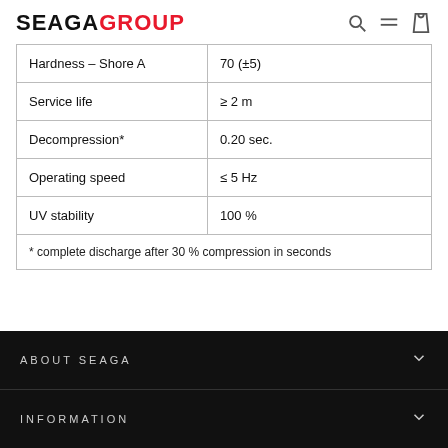SEAGA GROUP
| Hardness – Shore A | 70 (±5) |
| Service life | ≥ 2 m |
| Decompression* | 0.20 sec. |
| Operating speed | ≤ 5 Hz |
| UV stability | 100 % |
| * complete discharge after 30 % compression in seconds |  |
ABOUT SEAGA
INFORMATION